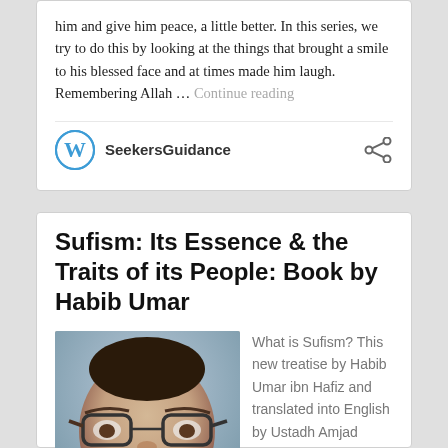him and give him peace, a little better. In this series, we try to do this by looking at the things that brought a smile to his blessed face and at times made him laugh. Remembering Allah … Continue reading
SeekersGuidance
Sufism: Its Essence & the Traits of its People: Book by Habib Umar
[Figure (photo): Photo of a smiling man with glasses and beard, close-up portrait]
What is Sufism? This new treatise by Habib Umar ibn Hafiz and translated into English by Ustadh Amjad Tarsin, covers the